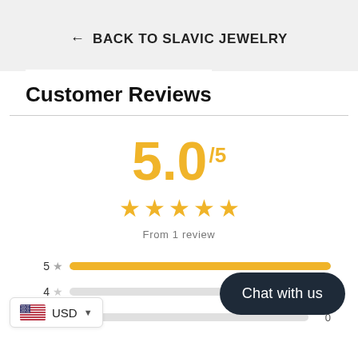← BACK TO SLAVIC JEWELRY
Customer Reviews
[Figure (infographic): Rating display showing 5.0 out of 5 stars with 5 golden stars and text 'From 1 review', followed by a bar chart breakdown by star rating (5 stars: 1 review full bar, 4 stars: 0, 3 stars: 0)]
From 1 review
5  ★  [full bar]  (no count shown)
USD ▼ (currency selector with US flag)
Chat with us (chat bubble)